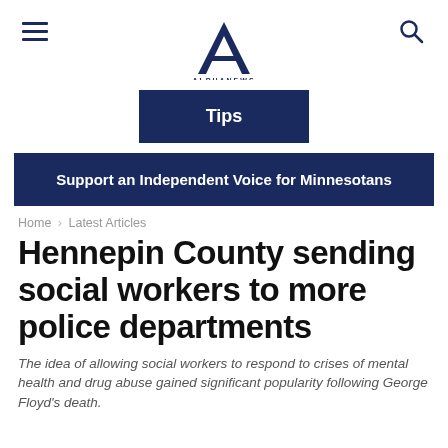Alpha News
[Figure (logo): Alpha News logo — a large letter A with 'ALPHANEWS' text beneath, in dark navy blue]
Tips
Support an Independent Voice for Minnesotans
Home › Latest Articles
Hennepin County sending social workers to more police departments
The idea of allowing social workers to respond to crises of mental health and drug abuse gained significant popularity following George Floyd's death.